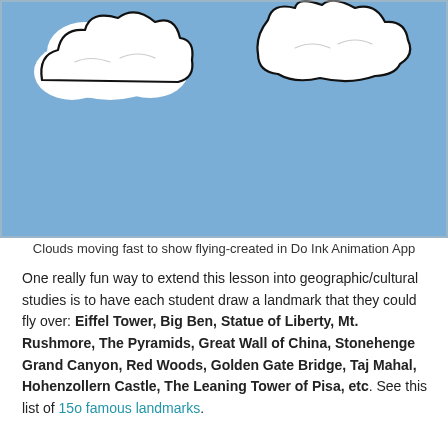[Figure (illustration): Blue sky background with two white cartoon-style clouds with black outlines, illustrating clouds moving fast to show flying, created in Do Ink Animation App]
Clouds moving fast to show flying-created in Do Ink Animation App
One really fun way to extend this lesson into geographic/cultural studies is to have each student draw a landmark that they could fly over: Eiffel Tower, Big Ben, Statue of Liberty, Mt. Rushmore, The Pyramids, Great Wall of China, Stonehenge Grand Canyon, Red Woods, Golden Gate Bridge, Taj Mahal, Hohenzollern Castle, The Leaning Tower of Pisa, etc. See this list of 15o famous landmarks.